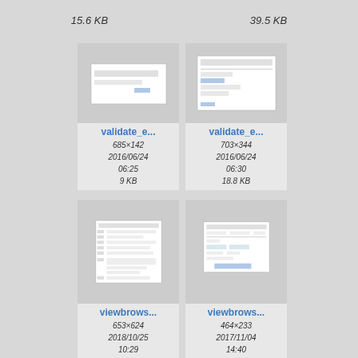15.6 KB
39.5 KB
[Figure (screenshot): Screenshot thumbnail of validate_e... form, small dialog]
validate_e...
685×142
2016/06/24
06:25
9 KB
[Figure (screenshot): Screenshot thumbnail of validate_e... form, larger dialog with table]
validate_e...
703×344
2016/06/24
06:30
18.8 KB
[Figure (screenshot): Screenshot thumbnail of viewbrows... checklist form]
viewbrows...
653×624
2018/10/25
10:29
45.2 KB
[Figure (screenshot): Screenshot thumbnail of viewbrows... dialog window]
viewbrows...
464×233
2017/11/04
14:40
17.1 KB